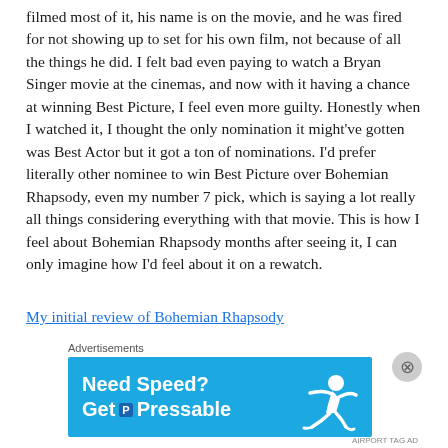filmed most of it, his name is on the movie, and he was fired for not showing up to set for his own film, not because of all the things he did. I felt bad even paying to watch a Bryan Singer movie at the cinemas, and now with it having a chance at winning Best Picture, I feel even more guilty. Honestly when I watched it, I thought the only nomination it might've gotten was Best Actor but it got a ton of nominations. I'd prefer literally other nominee to win Best Picture over Bohemian Rhapsody, even my number 7 pick, which is saying a lot really all things considering everything with that movie. This is how I feel about Bohemian Rhapsody months after seeing it, I can only imagine how I'd feel about it on a rewatch.
My initial review of Bohemian Rhapsody
Advertisements
[Figure (other): Blue advertisement banner for Pressable hosting service reading 'Need Speed? Get Pressable' with a person running graphic]